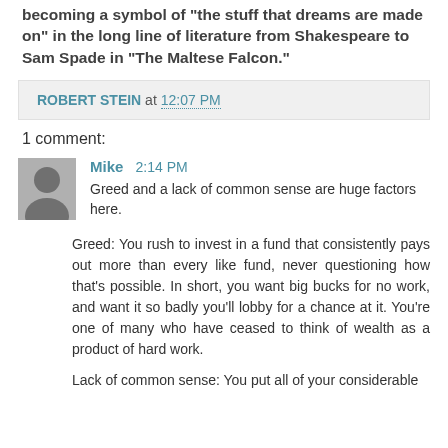becoming a symbol of "the stuff that dreams are made on" in the long line of literature from Shakespeare to Sam Spade in "The Maltese Falcon."
ROBERT STEIN at 12:07 PM
1 comment:
Mike 2:14 PM
Greed and a lack of common sense are huge factors here.
Greed: You rush to invest in a fund that consistently pays out more than every like fund, never questioning how that's possible. In short, you want big bucks for no work, and want it so badly you'll lobby for a chance at it. You're one of many who have ceased to think of wealth as a product of hard work.
Lack of common sense: You put all of your considerable